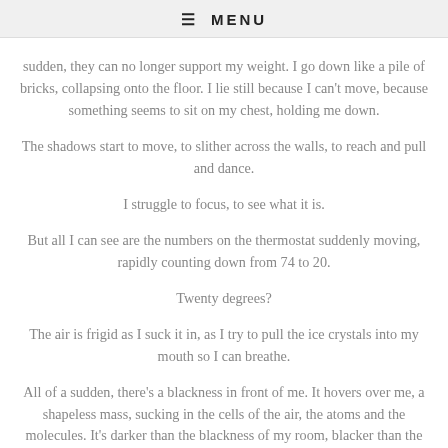≡ MENU
sudden, they can no longer support my weight.  I go down like a pile of bricks, collapsing onto the floor.  I lie still because I can't move, because something seems to sit on my chest, holding me down.
The shadows start to move, to slither across the walls, to reach and pull and dance.
I struggle to focus, to see what it is.
But all I can see are the numbers on the thermostat suddenly moving, rapidly counting down from 74 to 20.
Twenty degrees?
The air is frigid as I suck it in, as I try to pull the ice crystals into my mouth so I can breathe.
All of a sudden, there's a blackness in front of me.  It hovers over me, a shapeless mass, sucking in the cells of the air, the atoms and the molecules.  It's darker than the blackness of my room, blacker than the blackest black.
Something is here.
With me.
"Dad?" I whisper in a white puff.  Because what else could it be?